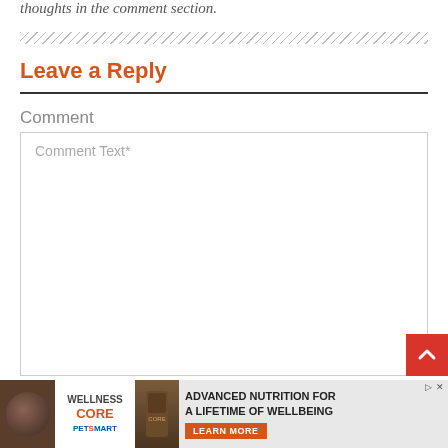thoughts in the comment section.
Leave a Reply
Comment
Comment Text*
[Figure (other): Advertisement banner: Wellness Core dog food at PetSmart — Advanced Nutrition for a Lifetime of Wellbeing. Learn More button.]